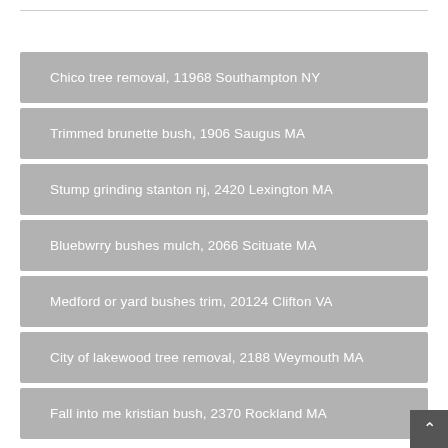Chico tree removal, 11968 Southampton NY
Trimmed brunette bush, 1906 Saugus MA
Stump grinding stanton nj, 2420 Lexington MA
Bluebwrry bushes mulch, 2066 Scituate MA
Medford or yard bushes trim, 20124 Clifton VA
City of lakewood tree removal, 2188 Weymouth MA
Fall into me kristian bush, 2370 Rockland MA